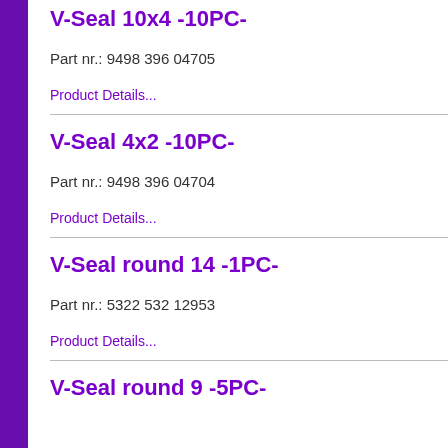V-Seal 10x4 -10PC-
Part nr.: 9498 396 04705
Product Details...
V-Seal 4x2 -10PC-
Part nr.: 9498 396 04704
Product Details...
V-Seal round 14 -1PC-
Part nr.: 5322 532 12953
Product Details...
V-Seal round 9 -5PC-